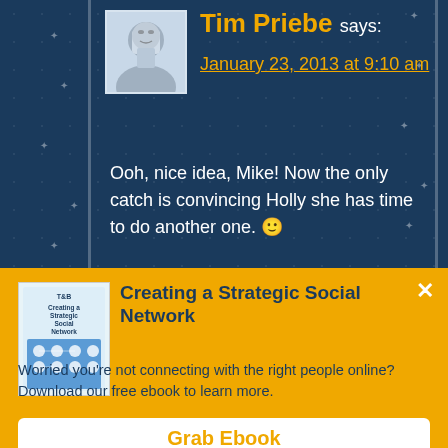Tim Priebe says:
January 23, 2013 at 9:10 am
Ooh, nice idea, Mike! Now the only catch is convincing Holly she has time to do another one. 🙂
Creating a Strategic Social Network
Worried you're not connecting with the right people online? Download our free ebook to learn more.
Grab Ebook